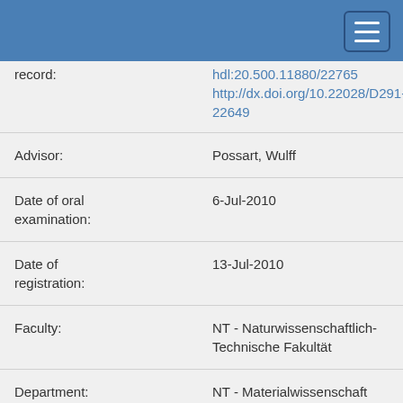| Field | Value |
| --- | --- |
| record: | hdl:20.500.11880/22765
http://dx.doi.org/10.22028/D291-22649 |
| Advisor: | Possart, Wulff |
| Date of oral examination: | 6-Jul-2010 |
| Date of registration: | 13-Jul-2010 |
| Faculty: | NT - Naturwissenschaftlich- Technische Fakultät |
| Department: | NT - Materialwissenschaft und Werkstofftechnik |
| Former Department: | bis SS 2016: Fachrichtung 8.4 - Werkstoffwissenschaften |
| Collections: | SciDok - Der Wissenschaftsserver der Universität des Saarlandes |